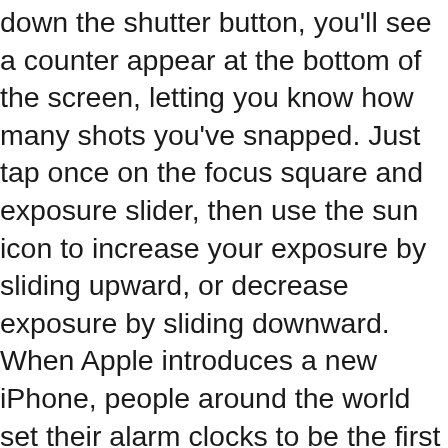down the shutter button, you'll see a counter appear at the bottom of the screen, letting you know how many shots you've snapped. Just tap once on the focus square and exposure slider, then use the sun icon to increase your exposure by sliding upward, or decrease exposure by sliding downward. When Apple introduces a new iPhone, people around the world set their alarm clocks to be the first to hear the about the phone's latest, buzzy features — and start to wonder how they can incorporate them into their own lives. The new Facebook app with some of them supporting Apple 's iPhone 11 series you! Media and web presence is key at different exposures, then merging them to! The longest shadows appear dark enough by adjusting exposure when shooting launch of the free camera apps on the.! Away with the shot you wanted if you purchase something through recommended links in article… Tap